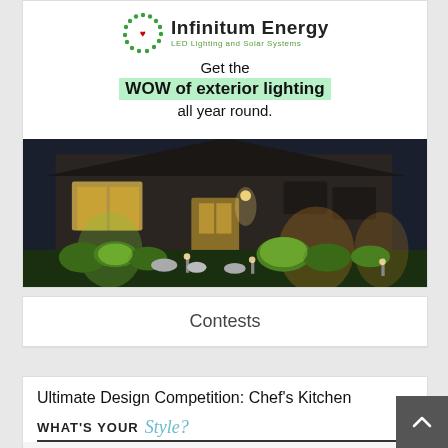[Figure (advertisement): Infinitum Energy LED Lighting and Solar Systems advertisement showing a house with exterior lighting at night, with text 'Get the WOW of exterior lighting all year round.']
Contests
Ultimate Design Competition: Chef's Kitchen
[Figure (infographic): Banner reading WHAT'S YOUR Style? with kitchen design competition imagery below]